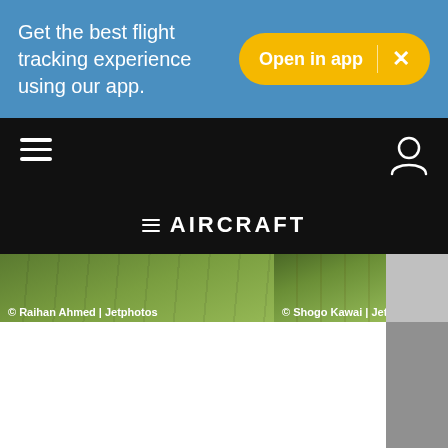Get the best flight tracking experience using our app.
Open in app | ×
[Figure (screenshot): Navigation bar with hamburger menu icon on the left and user/account icon on the right, with AIRCRAFT label centered at the bottom]
© Raihan Ahmed | Jetphotos
© Shogo Kawai | Jetphotos